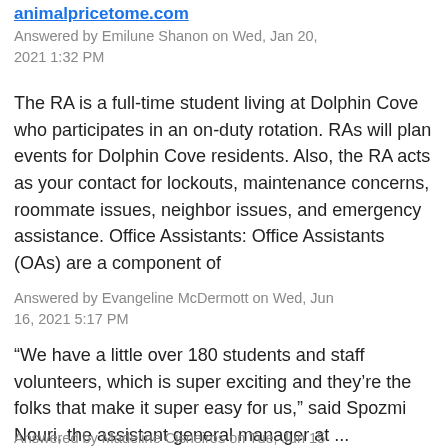animalpricetome.com
Answered by Emilune Shanon on Wed, Jan 20, 2021 1:32 PM
The RA is a full-time student living at Dolphin Cove who participates in an on-duty rotation. RAs will plan events for Dolphin Cove residents. Also, the RA acts as your contact for lockouts, maintenance concerns, roommate issues, neighbor issues, and emergency assistance. Office Assistants: Office Assistants (OAs) are a component of
Answered by Evangeline McDermott on Wed, Jun 16, 2021 5:17 PM
“We have a little over 180 students and staff volunteers, which is super exciting and they’re the folks that make it super easy for us,” said Spozmi Nouri, the assistant general manager at ...
Answered by Madeline Cisneiros on Tue, Jun 15